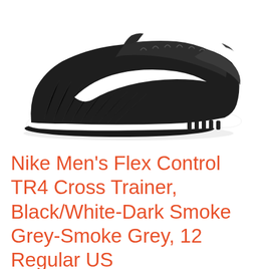[Figure (photo): Nike Flex Control TR4 cross trainer shoe in black with white Nike swoosh and white midsole, photographed from the side at a slight angle against a white background.]
Nike Men's Flex Control TR4 Cross Trainer, Black/White-Dark Smoke Grey-Smoke Grey, 12 Regular US